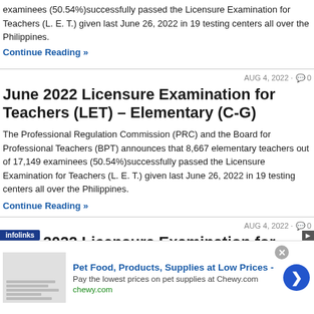examinees (50.54%)successfully passed the Licensure Examination for Teachers (L. E. T.) given last June 26, 2022 in 19 testing centers all over the Philippines.
Continue Reading »
AUG 4, 2022 · 0
June 2022 Licensure Examination for Teachers (LET) – Elementary (C-G)
The Professional Regulation Commission (PRC) and the Board for Professional Teachers (BPT) announces that 8,667 elementary teachers out of 17,149 examinees (50.54%)successfully passed the Licensure Examination for Teachers (L. E. T.) given last June 26, 2022 in 19 testing centers all over the Philippines.
Continue Reading »
AUG 4, 2022 · 0
June 2022 Licensure Examination for Teachers – Elementary (A-B)
Pet Food, Products, Supplies at Low Prices - Pay the lowest prices on pet supplies at Chewy.com chewy.com